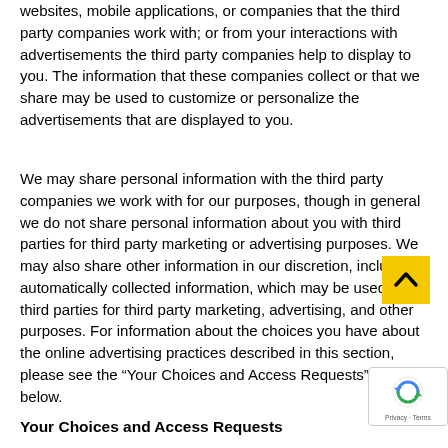websites, mobile applications, or companies that the third party companies work with; or from your interactions with advertisements the third party companies help to display to you. The information that these companies collect or that we share may be used to customize or personalize the advertisements that are displayed to you.
We may share personal information with the third party companies we work with for our purposes, though in general we do not share personal information about you with third parties for third party marketing or advertising purposes. We may also share other information in our discretion, including automatically collected information, which may be used by third parties for third party marketing, advertising, and other purposes. For information about the choices you have about the online advertising practices described in this section, please see the “Your Choices and Access Requests” Section below.
Your Choices and Access Requests